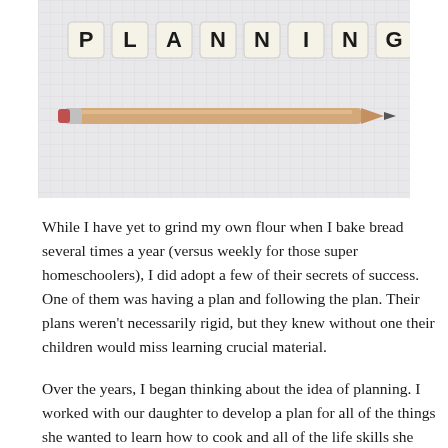[Figure (photo): Photo showing Scrabble letter tiles spelling out PLANNING on a grid-lined surface, with a wooden pencil laid below the tiles.]
While I have yet to grind my own flour when I bake bread several times a year (versus weekly for those super homeschoolers), I did adopt a few of their secrets of success. One of them was having a plan and following the plan. Their plans weren't necessarily rigid, but they knew without one their children would miss learning crucial material.
Over the years, I began thinking about the idea of planning. I worked with our daughter to develop a plan for all of the things she wanted to learn how to cook and all of the life skills she needed to learn before leaving for college and we slowly worked